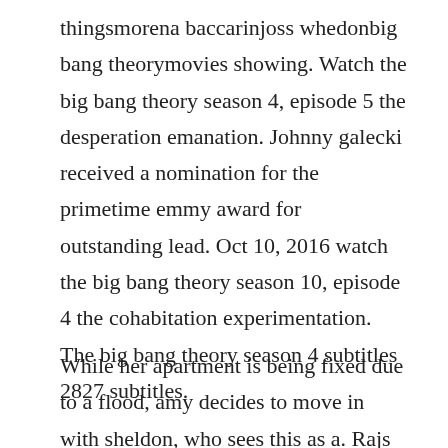thingsmorena baccarinjoss whedonbig bang theorymovies showing. Watch the big bang theory season 4, episode 5 the desperation emanation. Johnny galecki received a nomination for the primetime emmy award for outstanding lead. Oct 10, 2016 watch the big bang theory season 10, episode 4 the cohabitation experimentation. The big bang theory season 4 subtitles 2827 subtitles.
While her apartment is being fixed due to a flood, amy decides to move in with sheldon, who sees this as a. Rajs sister, priya, is in